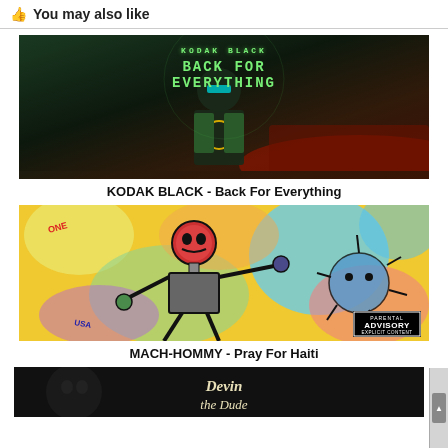You may also like
[Figure (photo): Album cover for KODAK BLACK - Back For Everything. Dark moody image of Kodak Black with green teal background, text at top reads KODAK BLACK and BACK FOR EVERYTHING in green pixel-style letters.]
KODAK BLACK - Back For Everything
[Figure (photo): Album cover for MACH-HOMMY - Pray For Haiti. Colorful graffiti-style artwork with bright yellows, blues, greens and reds showing an abstract figure. Parental Advisory Explicit Content badge in lower right corner.]
MACH-HOMMY - Pray For Haiti
[Figure (photo): Partial album cover visible at bottom. Dark background with stylized script text reading Devin the Dude.]